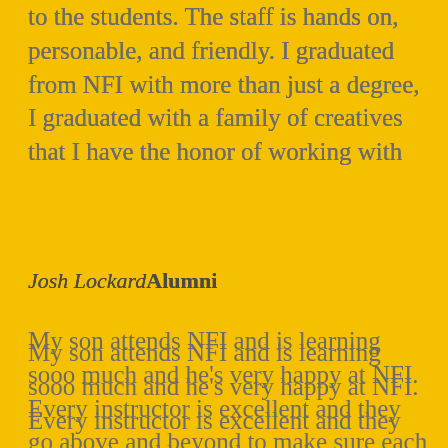to the students. The staff is hands on, personable, and friendly. I graduated from NFI with more than just a degree, I graduated with a family of creatives that I have the honor of working with
Josh Lockard Alumni
My son attends NFI and is learning sooo much and he's very happy at NFI. Every instructor is excellent and they go above and beyond to make sure each student is learning the material and experiencing success! The small class size is a definite advantage over the larger film schools. He isn't a number at NFI
Kelly Thompson Good Parent
My son Kappel never was one who could be easily